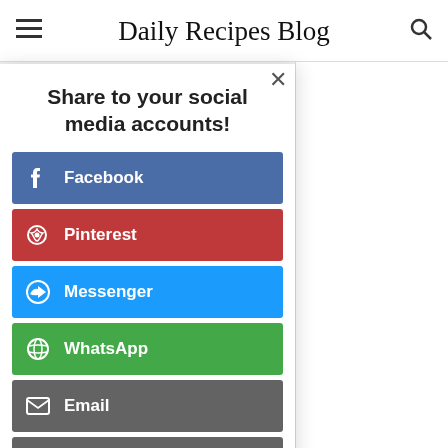Daily Recipes Blog
BEST EVER SLOW COOKER MINESTRONE SOUP
Share to your social media accounts!
Facebook
Pinterest
Messenger
WhatsApp
Email
Print